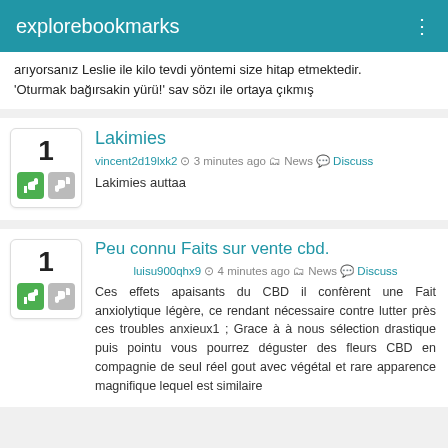explorebookmarks
arıyorsanız Leslie ile kilo tevdi yöntemi size hitap etmektedir. 'Oturmak bağırsakin yürü!' sav sözı ile ortaya çıkmış
Lakimies
vincent2d19lxk2  3 minutes ago  News  Discuss
Lakimies auttaa
Peu connu Faits sur vente cbd.
luisu900qhx9  4 minutes ago  News  Discuss
Ces effets apaisants du CBD il confèrent une Fait anxiolytique légère, ce rendant nécessaire contre lutter près ces troubles anxieux1 ; Grace à à nous sélection drastique puis pointu vous pourrez déguster des fleurs CBD en compagnie de seul réel gout avec végétal et rare apparence magnifique lequel est similaire